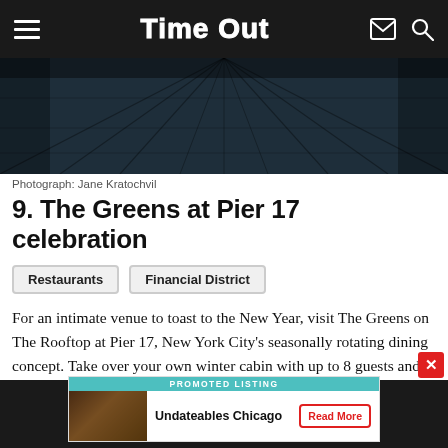Time Out
[Figure (photo): Dark wood plank rooftop floor perspective photo with dramatic lighting]
Photograph: Jane Kratochvil
9. The Greens at Pier 17 celebration
Restaurants
Financial District
For an intimate venue to toast to the New Year, visit The Greens on The Rooftop at Pier 17, New York City's seasonally rotating dining concept. Take over your own winter cabin with up to 8 guests and indulge in buckets of